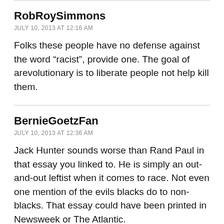RobRoySimmons
JULY 10, 2013 AT 12:16 AM
Folks these people have no defense against the word “racist”, provide one. The goal of arevolutionary is to liberate people not help kill them.
BernieGoetzFan
JULY 10, 2013 AT 12:36 AM
Jack Hunter sounds worse than Rand Paul in that essay you linked to. He is simply an out-and-out leftist when it comes to race. Not even one mention of the evils blacks do to non-blacks. That essay could have been printed in Newsweek or The Atlantic.
The Southern Avenger should feel right at home in the company of Rand Paul, The American Conservative and the